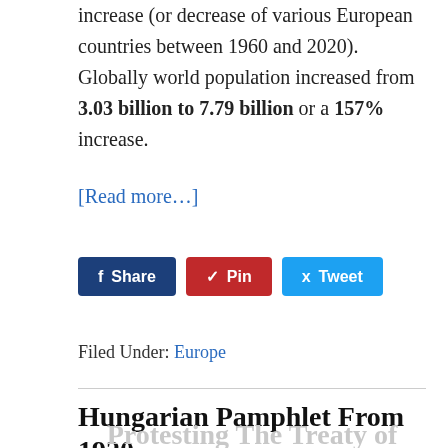increase (or decrease of various European countries between 1960 and 2020). Globally world population increased from 3.03 billion to 7.79 billion or a 157% increase.
[Read more…]
[Figure (other): Social sharing buttons: Facebook Share, Pinterest Pin, Twitter Tweet]
Filed Under: Europe
Hungarian Pamphlet From 1920 Protesting The Treaty of